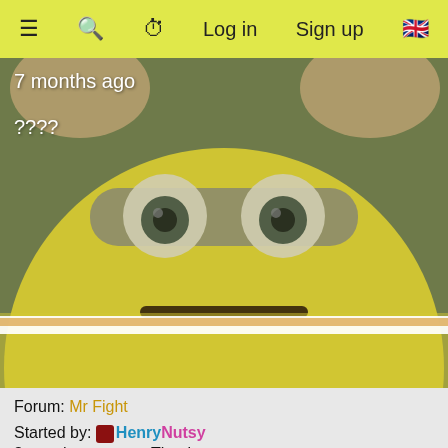☰  🔍  ⏳  Log in  Sign up  🇬🇧
[Figure (photo): A blurred close-up image of a Minion character (from Despicable Me) making a shocked face with hands raised to face. Yellow background. Text overlay reads '7 months ago' and '????']
7 months ago
????
Forum: Mr Fight
Thread: When should I start the timer?
Started by: HenryNutsy
8 months ago
Thanks